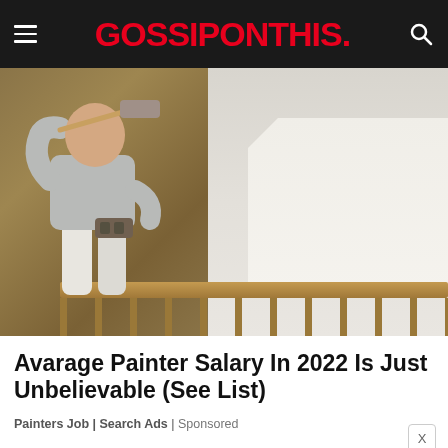GOSSIPONTHIS.
[Figure (photo): A bald man in a light grey t-shirt and white pants painting a wall with a roller, seen from behind. The left wall is a tan/brown color and the right portion is being painted white. A wooden handrail is visible at the bottom.]
Avarage Painter Salary In 2022 Is Just Unbelievable (See List)
Painters Job | Search Ads | Sponsored